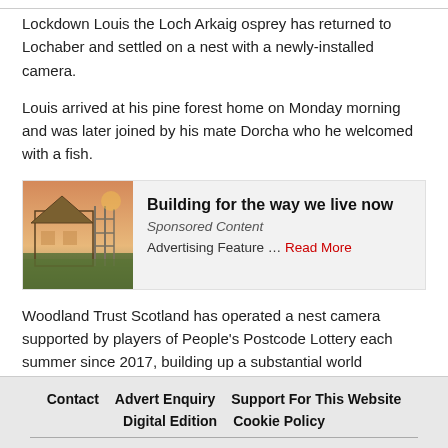Lockdown Louis the Loch Arkaig osprey has returned to Lochaber and settled on a nest with a newly-installed camera.
Louis arrived at his pine forest home on Monday morning and was later joined by his mate Dorcha who he welcomed with a fish.
[Figure (infographic): Sponsored content ad box with construction/building image on left and text 'Building for the way we live now', 'Sponsored Content', 'Advertising Feature ... Read More' on right]
Woodland Trust Scotland has operated a nest camera supported by players of People's Postcode Lottery each summer since 2017, building up a substantial world viewership as fans followed the family life of ospreys Louis and Aila as they raised their six chicks.
The camera was a particular hit during 2020s first pandemic lockdown clocking up 400,000 viewers.
Contact  Advert Enquiry  Support For This Website  Digital Edition  Cookie Policy